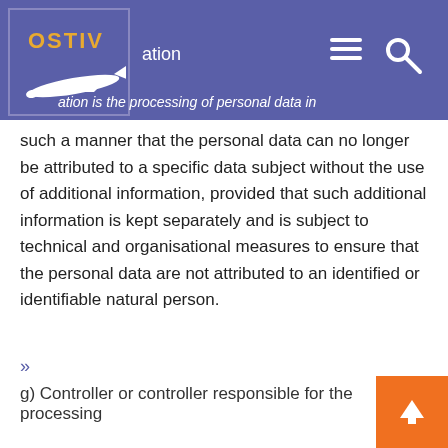OSTIV navigation
ation is the processing of personal data in such a manner that the personal data can no longer be attributed to a specific data subject without the use of additional information, provided that such additional information is kept separately and is subject to technical and organisational measures to ensure that the personal data are not attributed to an identified or identifiable natural person.
»
g) Controller or controller responsible for the processing
Controller or controller responsible for the processing is the natural or legal person, public authority, agency or other body which, alone or jointly with others, determines the purposes and means of the processing of personal data; where the purposes and means of such processing are